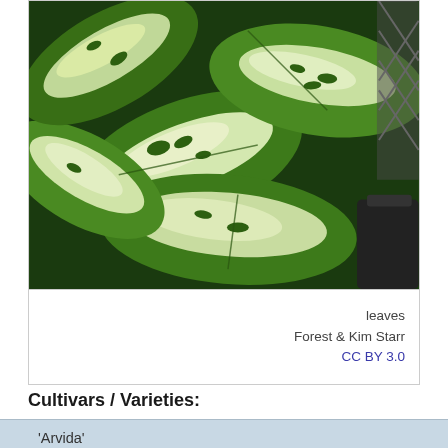[Figure (photo): Close-up photo of Dieffenbachia plant leaves showing heavily variegated green and creamy white coloring]
leaves
Forest & Kim Starr
CC BY 3.0
Cultivars / Varieties:
'Arvida'
Leaves are heavily variegated creamy white
'Marianne'
Leaves are like 'Rudolph Roehrs' except the green margins are